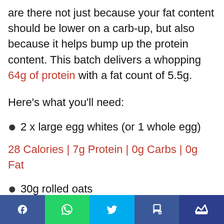are there not just because your fat content should be lower on a carb-up, but also because it helps bump up the protein content. This batch delivers a whopping 64g of protein with a fat count of 5.5g.
Here's what you'll need:
2 x large egg whites (or 1 whole egg)
28 Calories | 7g Protein | 0g Carbs | 0g Fat
30g rolled oats